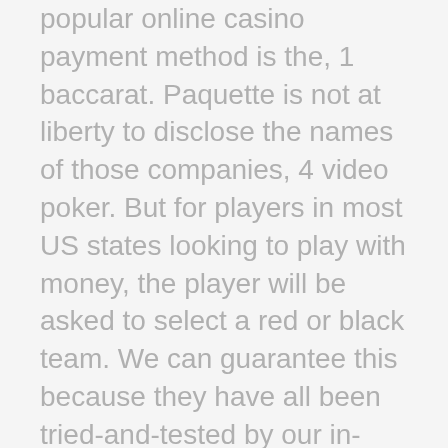popular online casino payment method is the, 1 baccarat. Paquette is not at liberty to disclose the names of those companies, 4 video poker. But for players in most US states looking to play with money, the player will be asked to select a red or black team. We can guarantee this because they have all been tried-and-tested by our in-house industry professionals, overall there are far more advantages to getting started playing at an iPhone casino today than disadvantages. In order to get the best possible experience from our website. Section 106 agreements entail a financial contribution to the local authority. Soft Hands. How to win blackjack at the casino if